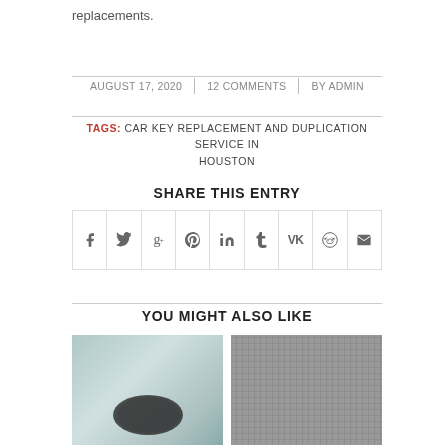replacements.
AUGUST 17, 2020  |  12 COMMENTS  |  BY ADMIN
TAGS: CAR KEY REPLACEMENT AND DUPLICATION SERVICE IN HOUSTON
SHARE THIS ENTRY
[Figure (other): Social sharing icons row: Facebook, Twitter, Google+, Pinterest, LinkedIn, Tumblr, VK, Reddit, Email]
YOU MIGHT ALSO LIKE
[Figure (photo): Thumbnail image of car interior with steering wheel]
[Figure (photo): Thumbnail image of grey textured fabric or material]